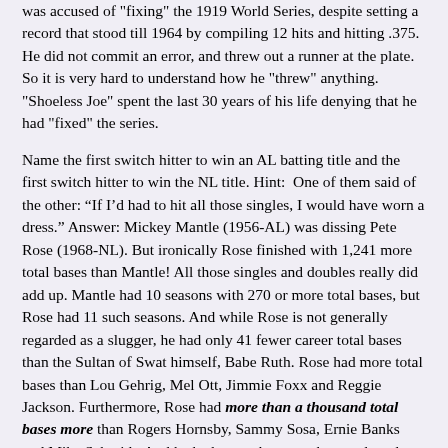was accused of "fixing" the 1919 World Series, despite setting a record that stood till 1964 by compiling 12 hits and hitting .375. He did not commit an error, and threw out a runner at the plate. So it is very hard to understand how he "threw" anything. "Shoeless Joe" spent the last 30 years of his life denying that he had "fixed" the series.
Name the first switch hitter to win an AL batting title and the first switch hitter to win the NL title. Hint:  One of them said of the other: “If I’d had to hit all those singles, I would have worn a dress.” Answer: Mickey Mantle (1956-AL) was dissing Pete Rose (1968-NL). But ironically Rose finished with 1,241 more total bases than Mantle! All those singles and doubles really did add up. Mantle had 10 seasons with 270 or more total bases, but Rose had 11 such seasons. And while Rose is not generally regarded as a slugger, he had only 41 fewer career total bases than the Sultan of Swat himself, Babe Ruth. Rose had more total bases than Lou Gehrig, Mel Ott, Jimmie Foxx and Reggie Jackson. Furthermore, Rose had more than a thousand total bases more than Rogers Hornsby, Sammy Sosa, Ernie Banks and Mike Schmidt. And he had more than two thousand total bases more than Mark McGwire, Jose Canseco, Johnny Mize, Johnny Bench and Yogi Berra. Yes, all those singles and doubles really did add up, over time.
Known as "Charlie Hustle," Pete Rose once said, "I'd walk through hell in a gasoline suit to play baseball."